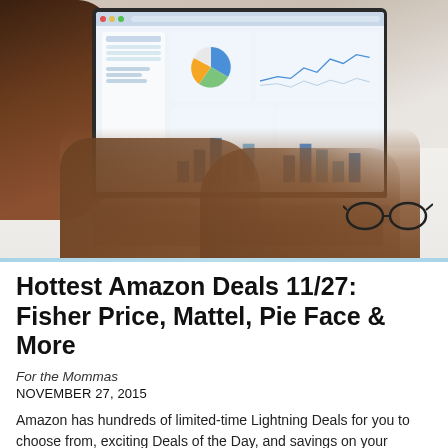[Figure (photo): Overhead view of person typing on a MacBook laptop displaying an analytics dashboard with pie chart, line graph, and bar charts. Glasses visible on the desk to the right.]
Hottest Amazon Deals 11/27: Fisher Price, Mattel, Pie Face & More
For the Mommas
NOVEMBER 27, 2015
Amazon has hundreds of limited-time Lightning Deals for you to choose from, exciting Deals of the Day, and savings on your favorite electronics, toys, jewelry and more. 9:40 am EST: Easy Stitcher Table Top Sewing Machine. 50% or More Off Select NFL Jewelry Products. Hottest Amazon Deals